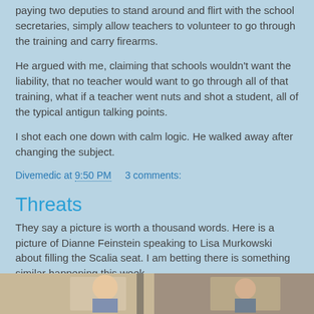paying two deputies to stand around and flirt with the school secretaries, simply allow teachers to volunteer to go through the training and carry firearms.
He argued with me, claiming that schools wouldn't want the liability, that no teacher would want to go through all of that training, what if a teacher went nuts and shot a student, all of the typical antigun talking points.
I shot each one down with calm logic. He walked away after changing the subject.
Divemedic at 9:50 PM    3 comments:
Threats
They say a picture is worth a thousand words. Here is a picture of Dianne Feinstein speaking to Lisa Murkowski about filling the Scalia seat. I am betting there is something similar happening this week.
[Figure (photo): Partial photo strip at bottom of page showing people, cropped]